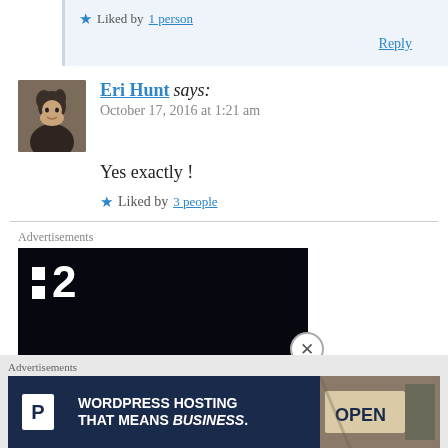Liked by 1 person
Reply
Eri Hunt says:
October 17, 2016 at 1:21 am
Yes exactly !
Liked by 3 people
Advertisements
[Figure (other): Dark advertisement banner with logo showing two white squares and the number 2]
Advertisements
[Figure (other): WordPress Hosting That Means Business banner ad with P logo and OPEN sign photo]